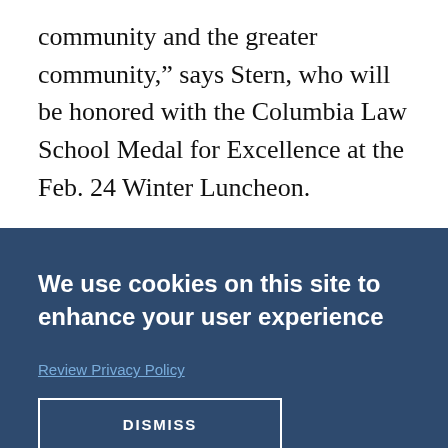community and the greater community," says Stern, who will be honored with the Columbia Law School Medal for Excellence at the Feb. 24 Winter Luncheon.
We use cookies on this site to enhance your user experience
Review Privacy Policy
DISMISS